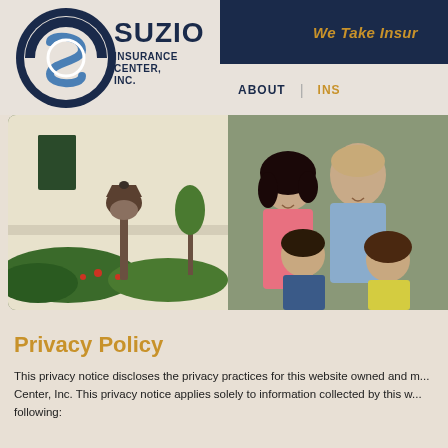We Take Insur...
[Figure (logo): Suzio Insurance Center, Inc. logo with circular S emblem in blue tones]
ABOUT | INS...
[Figure (photo): Happy family of four standing in front of a house — mother, father, son, and daughter smiling outdoors near a lamp post and garden]
Privacy Policy
This privacy notice discloses the privacy practices for this website owned and m... Center, Inc. This privacy notice applies solely to information collected by this w... following: